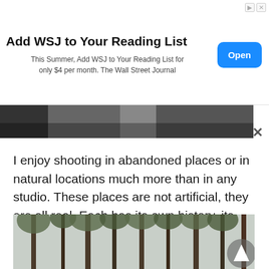[Figure (screenshot): WSJ advertisement banner with title 'Add WSJ to Your Reading List', body text, and blue Open button]
Add WSJ to Your Reading List
This Summer, Add WSJ to Your Reading List for only $4 per month. The Wall Street Journal
[Figure (photo): Partial photo strip showing dark interior or window scene — top of a larger photo]
I enjoy shooting in abandoned places or in natural locations much more than in any studio. These places are not artificial, they are all real. Each has its own history, its own atmosphere. Each of them continues to live its own life.
[Figure (photo): Forest photo showing tall pine trees in winter with snow, vertical composition with navigation arrow overlay]